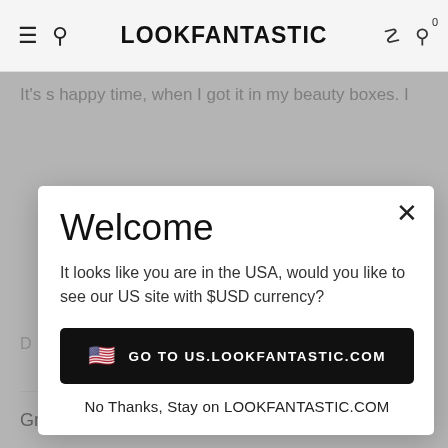LOOKFANTASTIC
It's s happy time, when I got it in my beauty boxes. I
Welcome
It looks like you are in the USA, would you like to see our US site with $USD currency?
GO TO US.LOOKFANTASTIC.COM
No Thanks, Stay on LOOKFANTASTIC.COM
Great for sleeping ★★★★